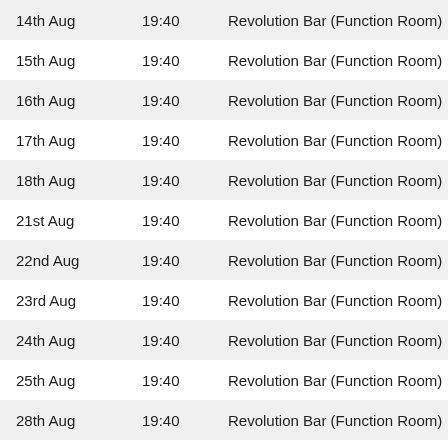| Date | Time | Venue |
| --- | --- | --- |
| 14th Aug | 19:40 | Revolution Bar (Function Room) |
| 15th Aug | 19:40 | Revolution Bar (Function Room) |
| 16th Aug | 19:40 | Revolution Bar (Function Room) |
| 17th Aug | 19:40 | Revolution Bar (Function Room) |
| 18th Aug | 19:40 | Revolution Bar (Function Room) |
| 21st Aug | 19:40 | Revolution Bar (Function Room) |
| 22nd Aug | 19:40 | Revolution Bar (Function Room) |
| 23rd Aug | 19:40 | Revolution Bar (Function Room) |
| 24th Aug | 19:40 | Revolution Bar (Function Room) |
| 25th Aug | 19:40 | Revolution Bar (Function Room) |
| 28th Aug | 19:40 | Revolution Bar (Function Room) |